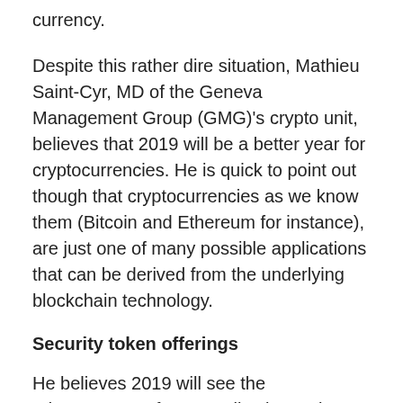Bitcoin, the first and still most popular digital currency.
Despite this rather dire situation, Mathieu Saint-Cyr, MD of the Geneva Management Group (GMG)'s crypto unit, believes that 2019 will be a better year for cryptocurrencies. He is quick to point out though that cryptocurrencies as we know them (Bitcoin and Ethereum for instance), are just one of many possible applications that can be derived from the underlying blockchain technology.
Security token offerings
He believes 2019 will see the advancement of new applications, also underpinned by blockchain, that have the potential to be of far greater value to investors. For example, he references security token